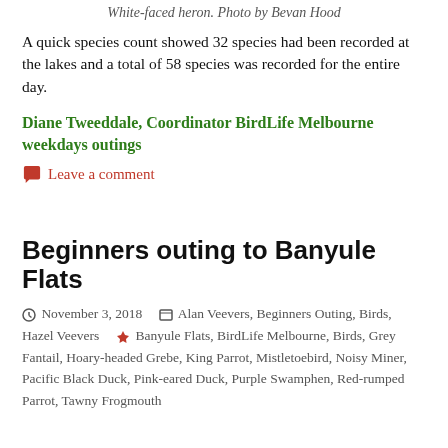White-faced heron. Photo by Bevan Hood
A quick species count showed 32 species had been recorded at the lakes and a total of 58 species was recorded for the entire day.
Diane Tweeddale, Coordinator BirdLife Melbourne weekdays outings
Leave a comment
Beginners outing to Banyule Flats
November 3, 2018  Alan Veevers, Beginners Outing, Birds, Hazel Veevers   Banyule Flats, BirdLife Melbourne, Birds, Grey Fantail, Hoary-headed Grebe, King Parrot, Mistletoebird, Noisy Miner, Pacific Black Duck, Pink-eared Duck, Purple Swamphen, Red-rumped Parrot, Tawny Frogmouth